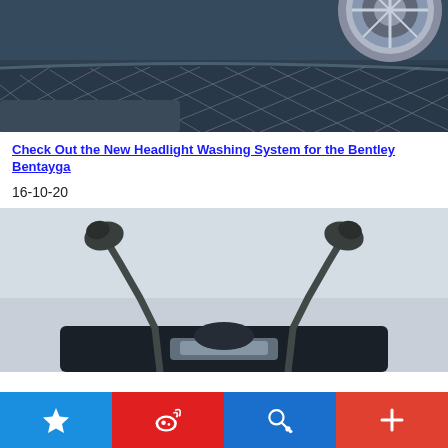[Figure (photo): Close-up of a dark blue/grey Bentley Bentayga front grille and lower bumper area with diamond mesh grille and wheel visible]
Check Out the New Headlight Washing System for the Bentley Bentayga
16-10-20
[Figure (photo): Close-up of the Bentley Bentayga headlight washing system nozzles extended upward, viewed from front, against grey background]
Social share buttons: favorites/star, Weibo, search, add/plus